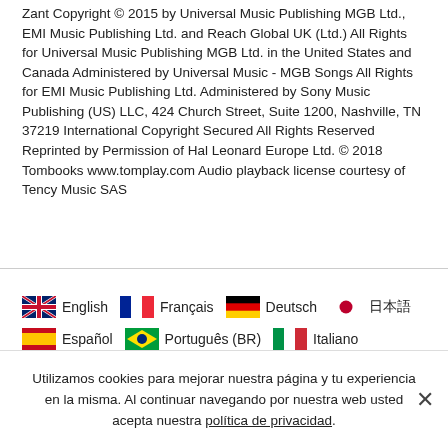Zant Copyright © 2015 by Universal Music Publishing MGB Ltd., EMI Music Publishing Ltd. and Reach Global UK (Ltd.) All Rights for Universal Music Publishing MGB Ltd. in the United States and Canada Administered by Universal Music - MGB Songs All Rights for EMI Music Publishing Ltd. Administered by Sony Music Publishing (US) LLC, 424 Church Street, Suite 1200, Nashville, TN 37219 International Copyright Secured All Rights Reserved Reprinted by Permission of Hal Leonard Europe Ltd. © 2018 Tombooks www.tomplay.com Audio playback license courtesy of Tency Music SAS
English  Français  Deutsch  日本語  Español  Português (BR)  Italiano
Utilizamos cookies para mejorar nuestra página y tu experiencia en la misma. Al continuar navegando por nuestra web usted acepta nuestra política de privacidad.